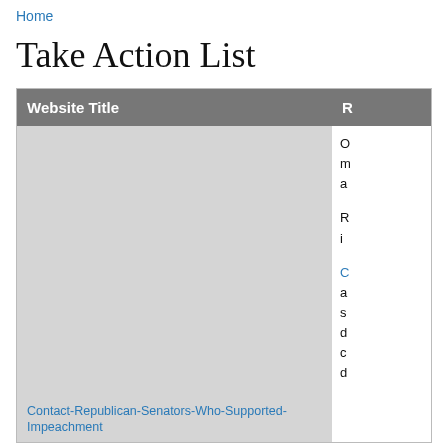Home
Take Action List
| Website Title | R |
| --- | --- |
|  | O m a ... |
| Contact-Republican-Senators-Who-Supported-Impeachment |  |